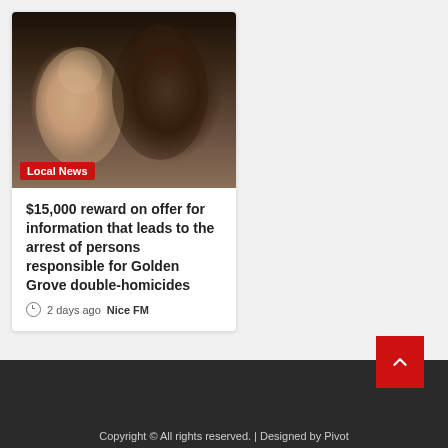[Figure (photo): Two people smiling, wearing white shirts, photographed at night or in low light]
Local News
$15,000 reward on offer for information that leads to the arrest of persons responsible for Golden Grove double-homicides
2 days ago  Nice FM
Copyright © All rights reserved. | Designed by Pivot